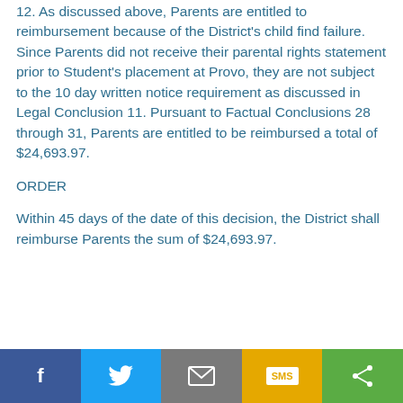12. As discussed above, Parents are entitled to reimbursement because of the District's child find failure. Since Parents did not receive their parental rights statement prior to Student's placement at Provo, they are not subject to the 10 day written notice requirement as discussed in Legal Conclusion 11. Pursuant to Factual Conclusions 28 through 31, Parents are entitled to be reimbursed a total of $24,693.97.
ORDER
Within 45 days of the date of this decision, the District shall reimburse Parents the sum of $24,693.97.
[Figure (infographic): Social media sharing bar with Facebook, Twitter, Email, SMS, and Share buttons]